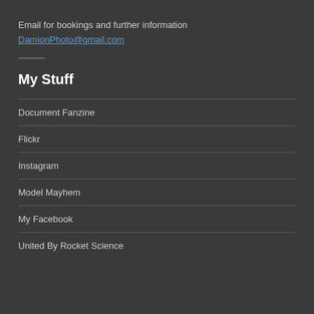Email for bookings and further information
DamionPhoto@gmail.com
My Stuff
Document Fanzine
Flickr
Instagram
Model Mayhem
My Facebook
United By Rocket Science